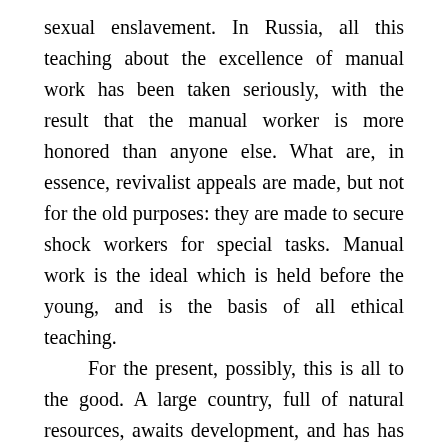sexual enslavement. In Russia, all this teaching about the excellence of manual work has been taken seriously, with the result that the manual worker is more honored than anyone else. What are, in essence, revivalist appeals are made, but not for the old purposes: they are made to secure shock workers for special tasks. Manual work is the ideal which is held before the young, and is the basis of all ethical teaching.
    For the present, possibly, this is all to the good. A large country, full of natural resources, awaits development, and has has to be developed with very little use of credit. In these circumstances, hard work is necessary, and is likely to bring a great